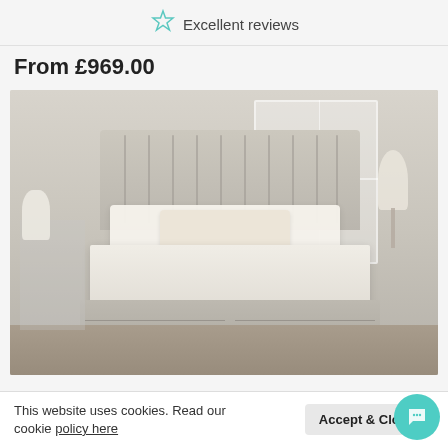Excellent reviews
From £969.00
[Figure (photo): A beige upholstered ottoman divan bed with a tall channelled headboard, dressed with white and cream pillows, placed in a bright bedroom with wooden flooring and a large window.]
Quinn Ottoman Triple Flow Headboard and Base Only
This website uses cookies. Read our cookie policy here
Accept & Close